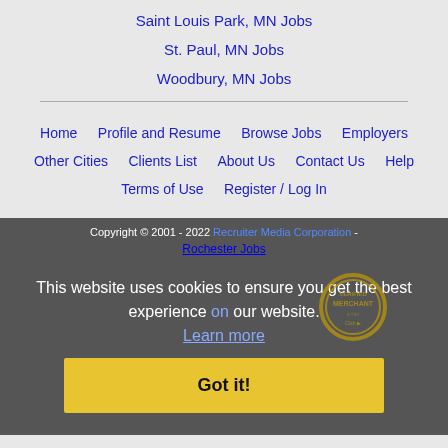Saint Louis Park, MN Jobs
St. Paul, MN Jobs
Woodbury, MN Jobs
Home  Profile and Resume  Browse Jobs  Employers  Other Cities  Clients List  About Us  Contact Us  Help  Terms of Use  Register / Log In
Copyright © 2001 - 2022 Recruiter Media Corporation - Rochester Jobs
This website uses cookies to ensure you get the best experience on our website. Learn more
Got it!